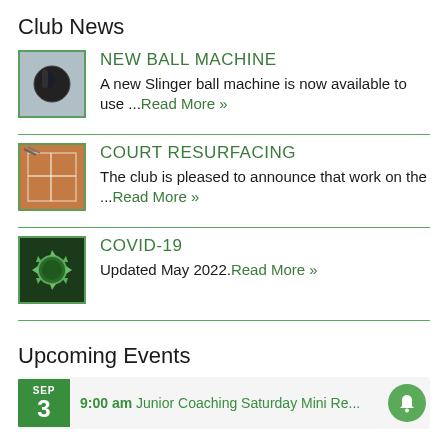Club News
NEW BALL MACHINE — A new Slinger ball machine is now available to use ...Read More »
COURT RESURFACING — The club is pleased to announce that work on the ...Read More »
COVID-19 — Updated May 2022.Read More »
Upcoming Events
9:00 am Junior Coaching Saturday Mini Re...